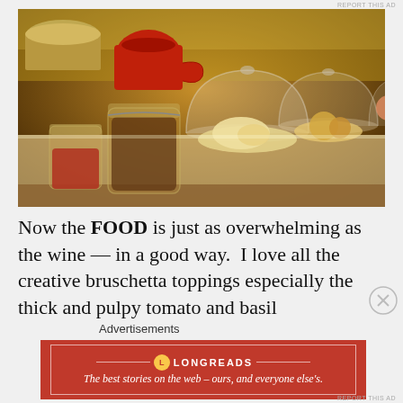[Figure (photo): A counter or bar display showing glass jars with various food items (nuts, peppercorns, relish), glass dome cloches covering cheese and other food items, and metal containers in warm amber lighting.]
Now the FOOD is just as overwhelming as the wine — in a good way.  I love all the creative bruschetta toppings especially the thick and pulpy tomato and basil
Advertisements
[Figure (other): Longreads advertisement banner: red background with Longreads logo and tagline 'The best stories on the web – ours, and everyone else's.']